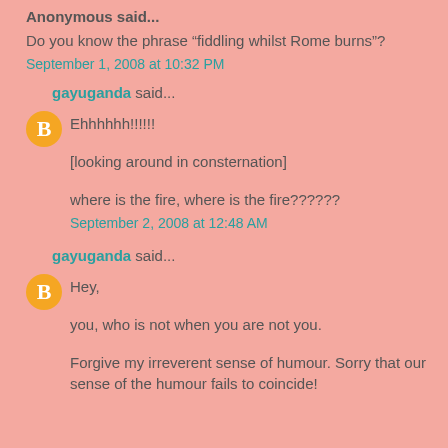Anonymous said...
Do you know the phrase "fiddling whilst Rome burns"?
September 1, 2008 at 10:32 PM
gayuganda said...
Ehhhhhh!!!!!!
[looking around in consternation]
where is the fire, where is the fire??????
September 2, 2008 at 12:48 AM
gayuganda said...
Hey,
you, who is not when you are not you.
Forgive my irreverent sense of humour. Sorry that our sense of the humour fails to coincide!